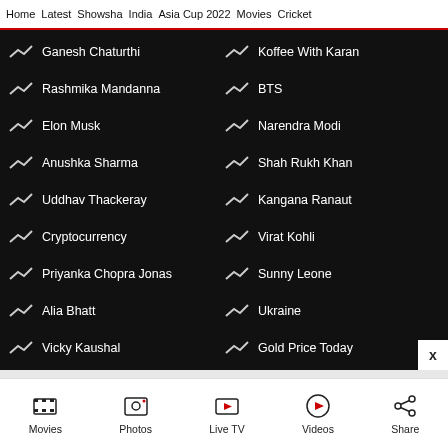Home | Latest | Showsha | India | Asia Cup 2022 | Movies | Cricket
Ganesh Chaturthi
Koffee With Karan
Rashmika Mandanna
BTS
Elon Musk
Narendra Modi
Anushka Sharma
Shah Rukh Khan
Uddhav Thackeray
Kangana Ranaut
Cryptocurrency
Virat Kohli
Priyanka Chopra Jonas
Sunny Leone
Alia Bhatt
Ukraine
Vicky Kaushal
Gold Price Today
Movies | Photos | Live TV | Videos | Share